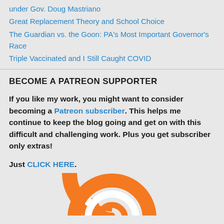under Gov. Doug Mastriano
Great Replacement Theory and School Choice
The Guardian vs. the Goon: PA's Most Important Governor's Race
Triple Vaccinated and I Still Caught COVID
BECOME A PATREON SUPPORTER
If you like my work, you might want to consider becoming a Patreon subscriber. This helps me continue to keep the blog going and get on with this difficult and challenging work. Plus you get subscriber only extras!
Just CLICK HERE.
[Figure (logo): Orange and white RSS/podcast feed icon logo, partially visible at bottom of page]